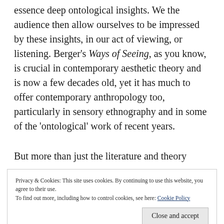essence deep ontological insights. We the audience then allow ourselves to be impressed by these insights, in our act of viewing, or listening. Berger's Ways of Seeing, as you know, is crucial in contemporary aesthetic theory and is now a few decades old, yet it has much to offer contemporary anthropology too, particularly in sensory ethnography and in some of the 'ontological' work of recent years.
But more than just the literature and theory
Privacy & Cookies: This site uses cookies. By continuing to use this website, you agree to their use.
To find out more, including how to control cookies, see here: Cookie Policy